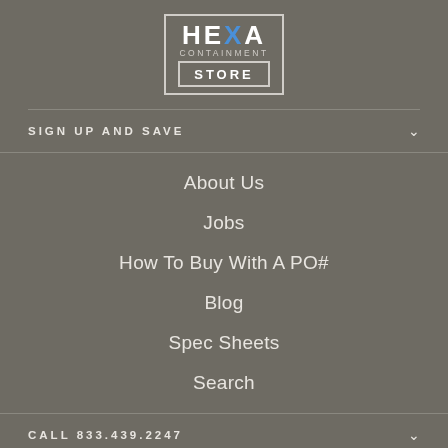[Figure (logo): HEXA CONTAINMENT STORE logo — white text with a blue X, inside a bordered box with 'CONTAINMENT' in small caps and 'STORE' in a separate bordered bar]
SIGN UP AND SAVE
About Us
Jobs
How To Buy With A PO#
Blog
Spec Sheets
Search
CALL 833.439.2247
ARA MEMBER